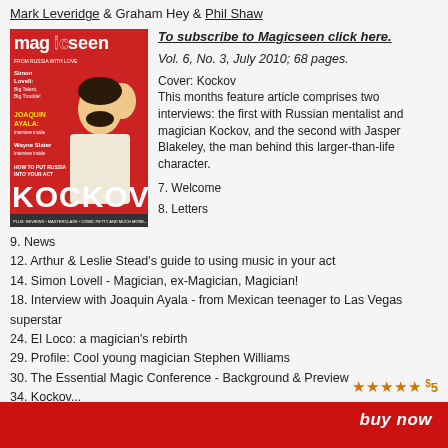Mark Leveridge & Graham Hey & Phil Shaw
[Figure (illustration): Magazine cover of Magicseen featuring Kockov, a man in white with hand raised, red and white design with text: Simon Lovell: Big Talent, Big Trouble!, Joaquin Ayala, Wayne Slater, How to put Russia into your act, Kockov, Plus: Reviews, Masterclass, Comic Petty and much more...]
To subscribe to Magicseen click here.
Vol. 6, No. 3, July 2010; 68 pages.
Cover: Kockov
This months feature article comprises two interviews: the first with Russian mentalist and magician Kockov, and the second with Jasper Blakeley, the man behind this larger-than-life character.
7. Welcome
8. Letters
9. News
12. Arthur & Leslie Stead's guide to using music in your act
14. Simon Lovell - Magician, ex-Magician, Magician!
18. Interview with Joaquin Ayala - from Mexican teenager to Las Vegas superstar
24. El Loco: a magician's rebirth
29. Profile: Cool young magician Stephen Williams
30. The Essential Magic Conference - Background & Preview
34. Kockov...
★★★★★ $5
buy now